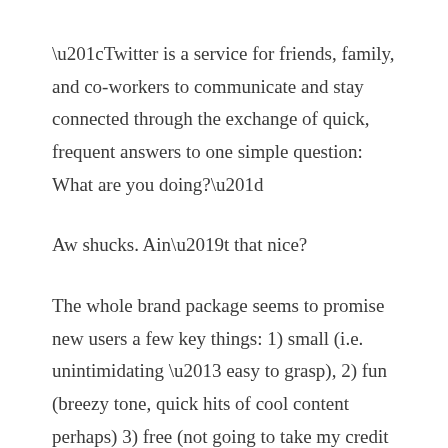“Twitter is a service for friends, family, and co-workers to communicate and stay connected through the exchange of quick, frequent answers to one simple question: What are you doing?”
Aw shucks. Ain’t that nice?
The whole brand package seems to promise new users a few key things: 1) small (i.e. unintimidating – easy to grasp), 2) fun (breezy tone, quick hits of cool content perhaps) 3) free (not going to take my credit card and sucker-punch me later with weirdo fees), 4) easy (get